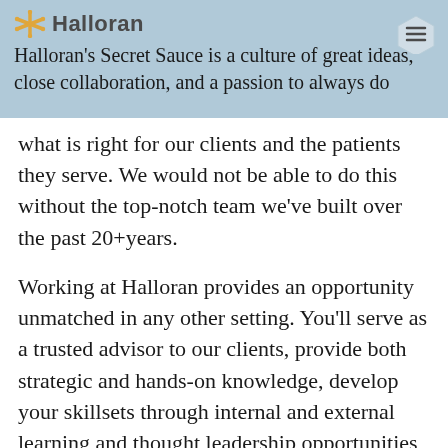Halloran's Secret Sauce is a culture of great ideas, close collaboration, and a passion to always do
what is right for our clients and the patients they serve. We would not be able to do this without the top-notch team we've built over the past 20+years.
Working at Halloran provides an opportunity unmatched in any other setting. You'll serve as a trusted advisor to our clients, provide both strategic and hands-on knowledge, develop your skillsets through internal and external learning and thought leadership opportunities, and leverage your ideas to drive our clients and your team forward. With competitive pay, fantastic benefits, and an emphasis on work-life balance, Halloran offers you the opportunity to come to work each day...